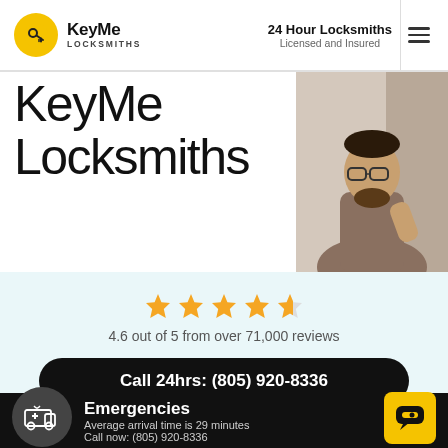KeyMe Locksmiths | 24 Hour Locksmiths Licensed and Insured
KeyMe Locksmiths
[Figure (photo): Photo of a locksmith professional working]
4.6 out of 5 from over 71,000 reviews
Call 24hrs: (805) 920-8336
Copying a Key? See the nearest kiosk below
Emergencies
Average arrival time is 29 minutes
Call now: (805) 920-8336